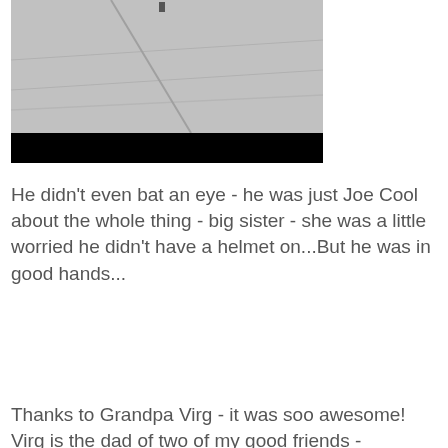[Figure (photo): Black and white photograph showing a pavement/sidewalk scene, partially obscured by a black bar at the bottom of the image]
He didn't even bat an eye - he was just Joe Cool about the whole thing - big sister - she was a little worried he didn't have a helmet on...But he was in good hands...
Thanks to Grandpa Virg - it was soo awesome! Virg is the dad of two of my good friends - someone I both love and